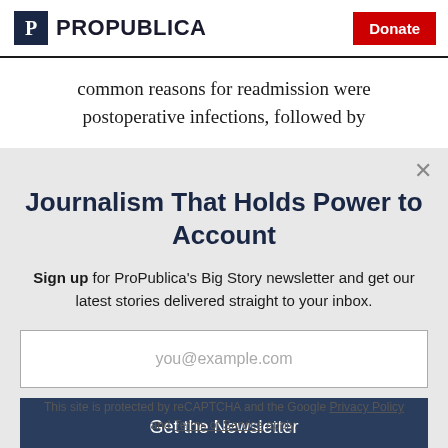ProPublica | Donate
common reasons for readmission were postoperative infections, followed by
Journalism That Holds Power to Account
Sign up for ProPublica's Big Story newsletter and get our latest stories delivered straight to your inbox.
you@example.com
Get the Newsletter
No thanks, I'm all set
This site is protected by reCAPTCHA and the Google Privacy Policy and Terms of Service apply.